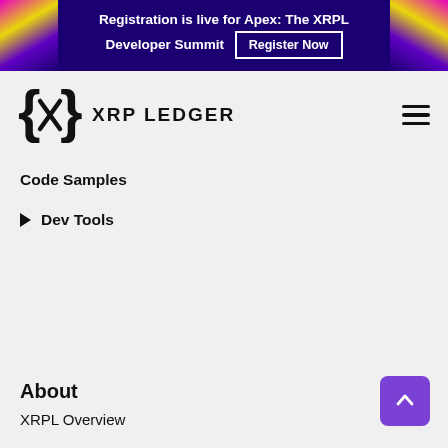Registration is live for Apex: The XRPL Developer Summit  Register Now
[Figure (logo): XRP Ledger logo: curly braces with X symbol and text XRP LEDGER]
Code Samples
Dev Tools
About
XRPL Overview